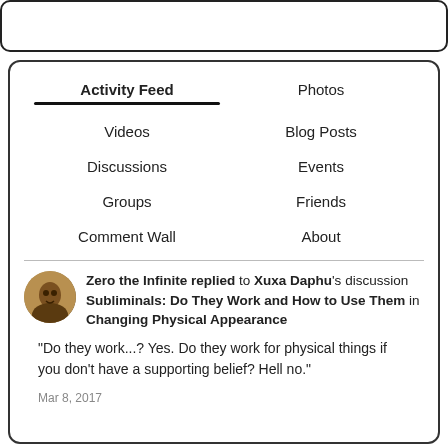Activity Feed
Photos
Videos
Blog Posts
Discussions
Events
Groups
Friends
Comment Wall
About
Zero the Infinite replied to Xuxa Daphu's discussion Subliminals: Do They Work and How to Use Them in Changing Physical Appearance
“Do they work…? Yes. Do they work for physical things if you don’t have a supporting belief? Hell no.”
Mar 8, 2017